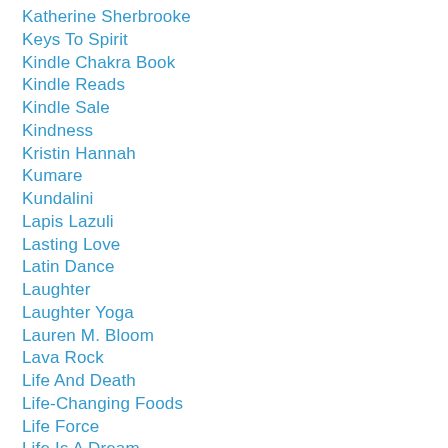Katherine Sherbrooke
Keys To Spirit
Kindle Chakra Book
Kindle Reads
Kindle Sale
Kindness
Kristin Hannah
Kumare
Kundalini
Lapis Lazuli
Lasting Love
Latin Dance
Laughter
Laughter Yoga
Lauren M. Bloom
Lava Rock
Life And Death
Life-Changing Foods
Life Force
Life Is A Dream
Life's Purpose